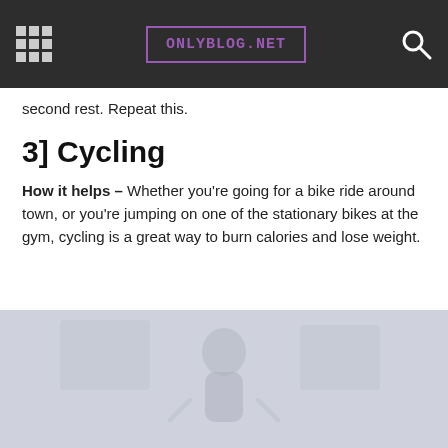ONLYBLOG.NET
second rest. Repeat this.
3] Cycling
How it helps – Whether you're going for a bike ride around town, or you're jumping on one of the stationary bikes at the gym, cycling is a great way to burn calories and lose weight.
[Figure (photo): Person on a stationary bike at the gym, faded/light washed photo]